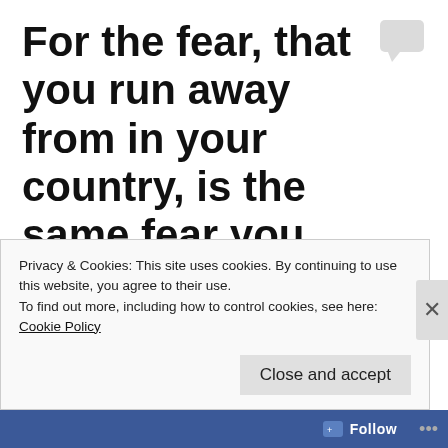For the fear, that you run away from in your country, is the same fear you face in the UK.
Posted by DV
We all have one thing in common, that the Home Office is refusing everything. You give information they refuse it, you put in a judicial review they refuse it, you give them application and before you know if it's refused and they give you ticket for
Privacy & Cookies: This site uses cookies. By continuing to use this website, you agree to their use.
To find out more, including how to control cookies, see here: Cookie Policy
Close and accept